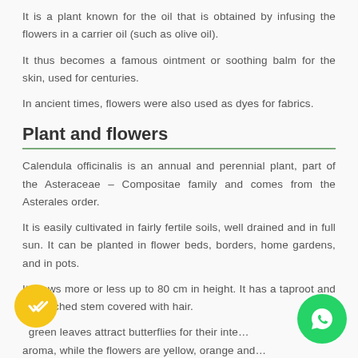It is a plant known for the oil that is obtained by infusing the flowers in a carrier oil (such as olive oil).
It thus becomes a famous ointment or soothing balm for the skin, used for centuries.
In ancient times, flowers were also used as dyes for fabrics.
Plant and flowers
Calendula officinalis is an annual and perennial plant, part of the Asteraceae – Compositae family and comes from the Asterales order.
It is easily cultivated in fairly fertile soils, well drained and in full sun. It can be planted in flower beds, borders, home gardens, and in pots.
It grows more or less up to 80 cm in height. It has a taproot and a branched stem covered with hair.
The green leaves attract butterflies for their inte… aroma, while the flowers are yellow, orange and…